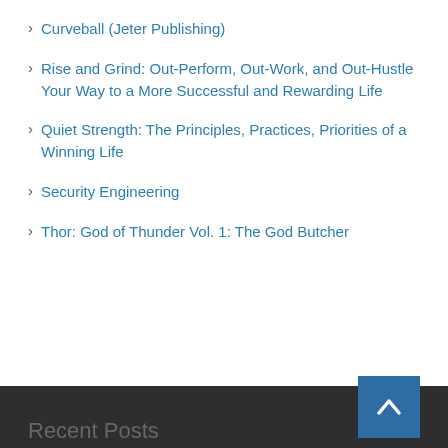Curveball (Jeter Publishing)
Rise and Grind: Out-Perform, Out-Work, and Out-Hustle Your Way to a More Successful and Rewarding Life
Quiet Strength: The Principles, Practices, Priorities of a Winning Life
Security Engineering
Thor: God of Thunder Vol. 1: The God Butcher
Recent Posts